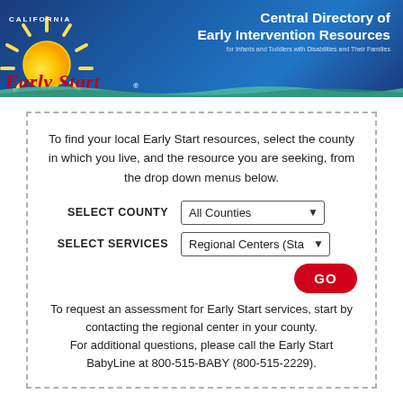[Figure (logo): California Early Start logo with sun graphic on blue gradient background, and 'Central Directory of Early Intervention Resources for Infants and Toddlers with Disabilities and Their Families' text on the right]
To find your local Early Start resources, select the county in which you live, and the resource you are seeking, from the drop down menus below.
SELECT COUNTY   All Counties
SELECT SERVICES   Regional Centers (Sta
GO
To request an assessment for Early Start services, start by contacting the regional center in your county. For additional questions, please call the Early Start BabyLine at 800-515-BABY (800-515-2229).